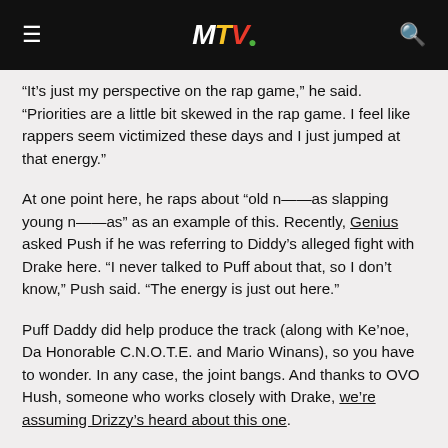MTV
“It’s just my perspective on the rap game,” he said. “Priorities are a little bit skewed in the rap game. I feel like rappers seem victimized these days and I just jumped at that energy.”
At one point here, he raps about “old n—as slapping young n—as” as an example of this. Recently, Genius asked Push if he was referring to Diddy’s alleged fight with Drake here. “I never talked to Puff about that, so I don’t know,” Push said. “The energy is just out here.”
Puff Daddy did help produce the track (along with Ke’noe, Da Honorable C.N.O.T.E. and Mario Winans), so you have to wonder. In any case, the joint bangs. And thanks to OVO Hush, someone who works closely with Drake, we’re assuming Drizzy’s heard about this one.